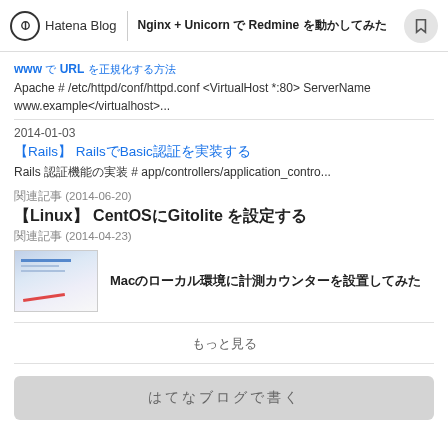Hatena Blog | Nginx + Unicorn で Redmine を動かしてみた
www で URL を正規化する方法
Apache # /etc/httpd/conf/httpd.conf <VirtualHost *:80> ServerName www.example</virtualhost>...
2014-01-03
【Rails】 RailsでBasic認証を実装する
Rails 認証機能の実装 # app/controllers/application_contro...
関連記事 (2014-06-20)
【Linux】 CentOSにGitolite を設定する
関連記事 (2014-04-23)
Macのローカル環境に計測カウンターを設置してみた
もっと見る
はてなブログで書く